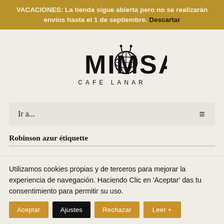VACACIONES: La tienda sigue abierta pero no se realizarán envíos hasta el 1 de septiembre. Descartar
[Figure (logo): Mimosa Cafe Lanar logo — stylized text with a yarn ball forming the O in MIMOSA, subtitle CAFE LANAR]
Ir a...
Robinson azur étiquette
Utilizamos cookies propias y de terceros para mejorar la experiencia de navegación. Haciendo Clic en 'Aceptar' das tu consentimiento para permitir su uso.
Aceptar | Ajustes | Rechazar | Leer +